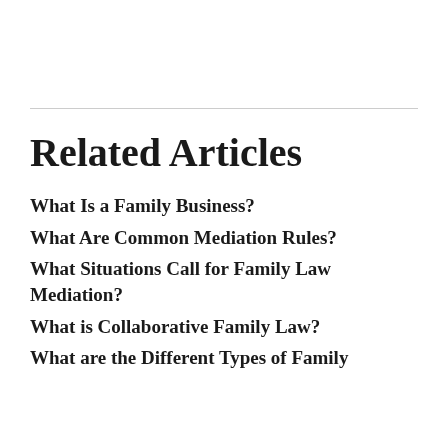Related Articles
What Is a Family Business?
What Are Common Mediation Rules?
What Situations Call for Family Law Mediation?
What is Collaborative Family Law?
What are the Different Types of Family